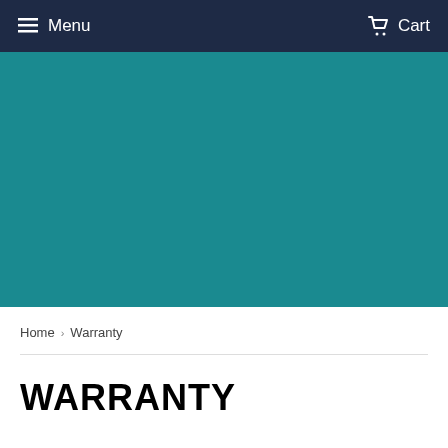Menu   Cart
[Figure (other): Teal/dark cyan hero banner image placeholder]
Home › Warranty
WARRANTY